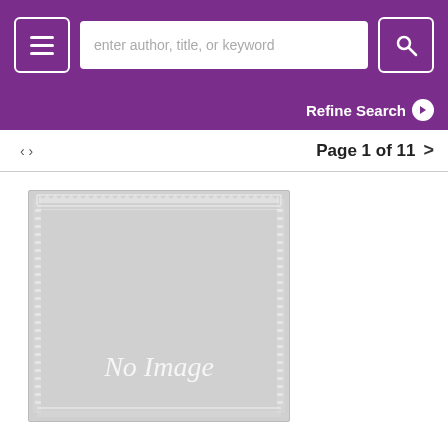enter author, title, or keyword
Refine Search
Page 1 of 11 >
[Figure (illustration): Book cover placeholder showing 'No Image' text with decorative white border pattern on grey background]